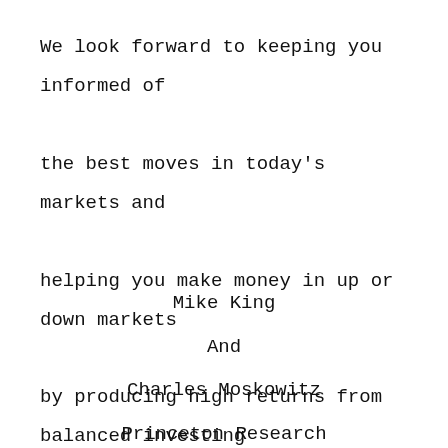We look forward to keeping you informed of the best moves in today's markets and helping you make money in up or down markets by producing high returns from balanced investing strategies and our text message trade alerts services.
Mike King

And

Charles Moskowitz

Princeton Research